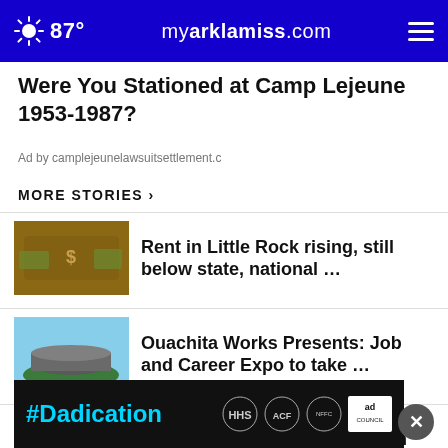87° myarklamiss.com
Were You Stationed at Camp Lejeune 1953-1987?
Ad by camplejeunelawsuitsettlement.c
MORE STORIES ›
Rent in Little Rock rising, still below state, national …
Ouachita Works Presents: Job and Career Expo to take …
Police searching for suspect in reported shooting …
demand Gov. Edwards …
#Dadication